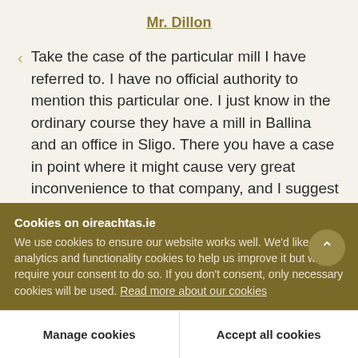Mr. Dillon
Take the case of the particular mill I have referred to. I have no official authority to mention this particular one. I just know in the ordinary course they have a mill in Ballina and an office in Sligo. There you have a case in point where it might cause very great inconvenience to that company, and I suggest to the Minister that he should add on another sub-section here, giving him
Cookies on oireachtas.ie
We use cookies to ensure our website works well. We'd like to use analytics and functionality cookies to help us improve it but we require your consent to do so. If you don't consent, only necessary cookies will be used. Read more about our cookies
Manage cookies
Accept all cookies